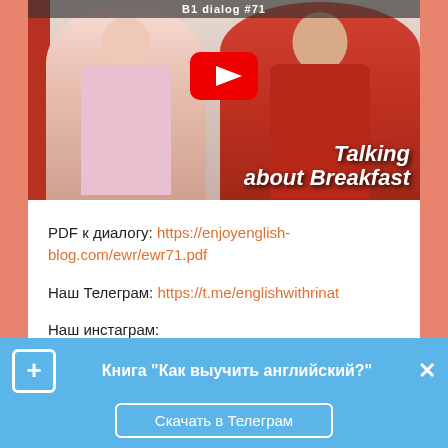[Figure (screenshot): YouTube video thumbnail showing two people (a woman in pink and a man in red) with text 'B1 dialog #71' at top, YouTube play button in center, and 'Talking about Breakfast' text overlaid at bottom right]
PDF к диалогу: https://enjoyenglish-blog.com/ewr/ewr71.pdf
Наш Телеграм: https://t.me/englishwithrinat
Наш инстаграм:
https://www.instagram.com/englishwithrinat/
Аудиоверсия: http://englishwithrinatpod.ru
Книга "Как выучить английский?"
Скачать в Телеграм